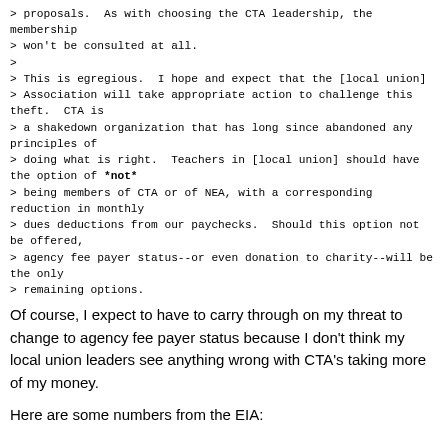> proposals.  As with choosing the CTA leadership, the membership
> won't be consulted at all.
>
> This is egregious.  I hope and expect that the [local union]
> Association will take appropriate action to challenge this theft.  CTA is
> a shakedown organization that has long since abandoned any principles of
> doing what is right.  Teachers in [local union] should have the option of *not*
> being members of CTA or of NEA, with a corresponding reduction in monthly
> dues deductions from our paychecks.  Should this option not be offered,
> agency fee payer status--or even donation to charity--will be the only
> remaining options.
Of course, I expect to have to carry through on my threat to change to agency fee payer status because I don't think my local union leaders see anything wrong with CTA's taking more of my money.
Here are some numbers from the EIA: